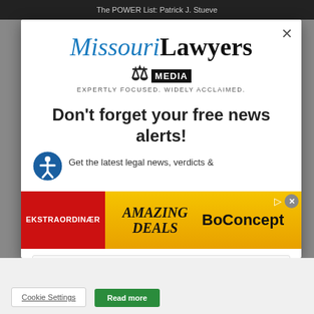The POWER List: Patrick J. Stueve
[Figure (logo): Missouri Lawyers Media logo with tagline 'EXPERTLY FOCUSED. WIDELY ACCLAIMED.']
Don't forget your free news alerts!
Get the latest legal news, verdicts &
[Figure (infographic): Advertisement banner: red section with 'EKSTRAORDINÆR', gold section with 'AMAZING DEALS' and 'BoConcept' text]
Enter your email here...
SIGN UP FOR FREE
Cookie Settings
Read more